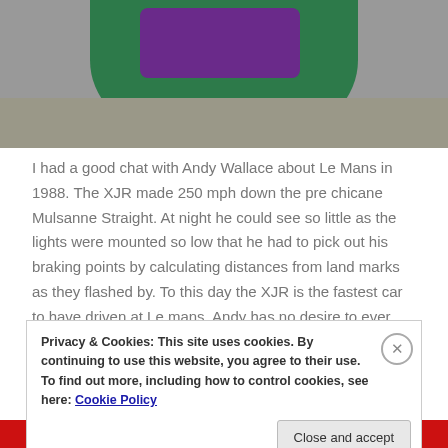[Figure (photo): Partial photo showing a green bag/item and purple object on a grey surface, cropped at top of page]
I had a good chat with Andy Wallace about Le Mans in 1988. The XJR made 250 mph down the pre chicane Mulsanne Straight. At night he could see so little as the lights were mounted so low that he had to pick out his braking points by calculating distances from land marks as they flashed by. To this day the XJR is the fastest car to have driven at Le mans. Andy has no desire to ever drive that fast again – he said it was something you could only do when young, fearless and
Privacy & Cookies: This site uses cookies. By continuing to use this website, you agree to their use.
To find out more, including how to control cookies, see here: Cookie Policy
[Figure (photo): Partial photo visible at bottom of page, red background with dark image content]